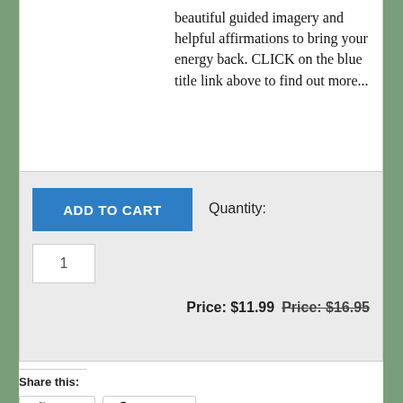beautiful guided imagery and helpful affirmations to bring your energy back. CLICK on the blue title link above to find out more...
ADD TO CART
Quantity:
1
Price: $11.99  Price: $16.95
Share this:
Twitter
Facebook